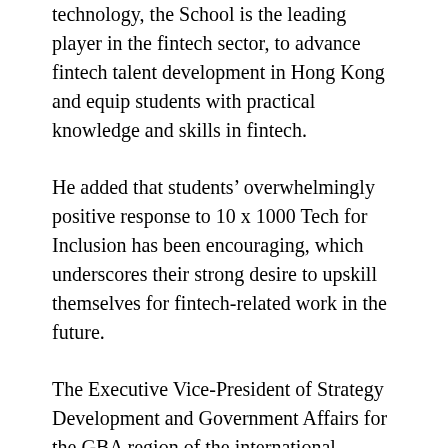technology, the School is the leading player in the fintech sector, to advance fintech talent development in Hong Kong and equip students with practical knowledge and skills in fintech.
He added that students' overwhelmingly positive response to 10 x 1000 Tech for Inclusion has been encouraging, which underscores their strong desire to upskill themselves for fintech-related work in the future.
The Executive Vice-President of Strategy Development and Government Affairs for the GBA region of the international financial centre stated that strengthening Hong Kong's position as an international financial centre and turning the city into an international innovation and